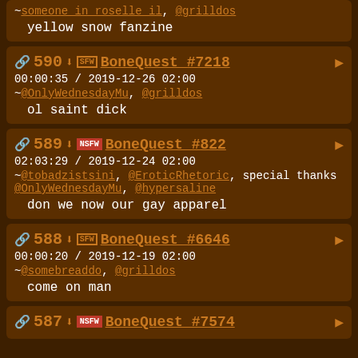~someone in roselle il, @grilldos
   yellow snow fanzine
590 BoneQuest #7218 00:00:35 / 2019-12-26 02:00 ~@OnlyWednesdayMu, @grilldos
   ol saint dick
589 BoneQuest #822 02:03:29 / 2019-12-24 02:00 ~@tobadzistsini, @EroticRhetoric, special thanks @OnlyWednesdayMu, @hypersaline
   don we now our gay apparel
588 BoneQuest #6646 00:00:20 / 2019-12-19 02:00 ~@somebreaddo, @grilldos
   come on man
587 BoneQuest #7574